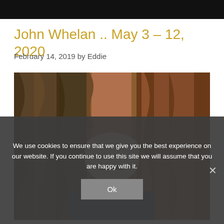John Whelan .. May 3 – 12, 2020
February 14, 2019 by Eddie
[Figure (photo): Photograph of a person with white hair and glasses standing between tree trunks with rough bark]
We use cookies to ensure that we give you the best experience on our website. If you continue to use this site we will assume that you are happy with it.